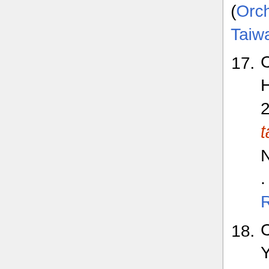(Orchidaceae) in Taiwan. Taiwania 51(1): 50-52
17. Chung, Shih-Wen, Tien-Chuan Hsu and Tomohisa Yukawa 2006 Saccolabiopsis taiwaniana (Orchidaceae), a New Species from the Taiwan . Quarterly Journal of Forest Research 28(3):25-28
18. Chung, Shih-Wen and Sheng-You Lu 2007 Dendrobium